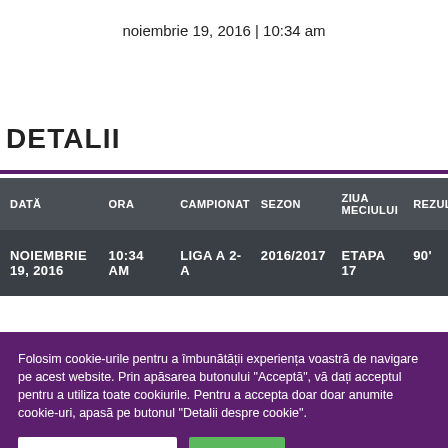noiembrie 19, 2016 | 10:34 am
DETALII
| DATĂ | ORA | CAMPIONAT | SEZON | ZIUA MECIULUI | REZULTAT |
| --- | --- | --- | --- | --- | --- |
| NOIEMBRIE 19, 2016 | 10:34 AM | LIGA A 2-A | 2016/2017 | ETAPA 17 | 90' |
Folosim cookie-urile pentru a îmbunătății experiența voastră de navigare pe acest website. Prin apăsarea butonului "Acceptă", vă dați acceptul pentru a utiliza toate cookiurile. Pentru a accepta doar doar anumite cookie-uri, apasă pe butonul "Detalii despre cookie".
Detalii despre cookie
Acceptă